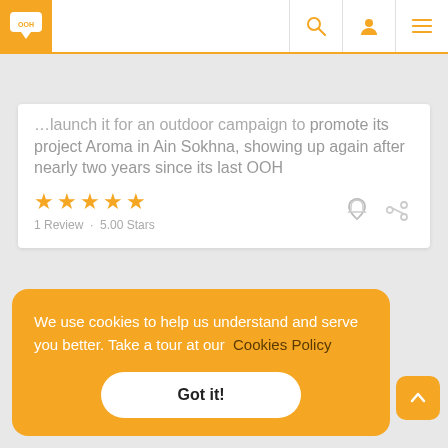[Figure (screenshot): OOH website navigation bar with orange logo, search icon, user icon, and hamburger menu]
promote its project Aroma in Ain Sokhna, showing up again after nearly two years since its last OOH
1 Review · 5.00 Stars
We use cookies to help us understand and serve you better. Take a tour at our Cookies Policy
Got it!